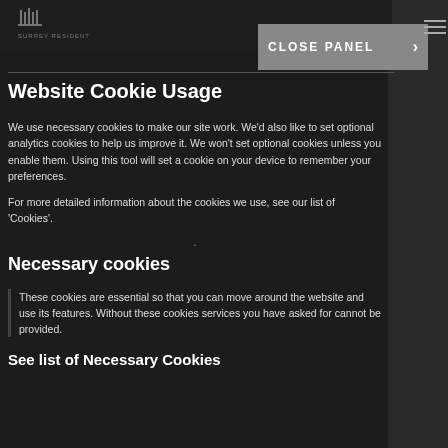SURREY RESIDENTIAL
Close Panel >
Website Cookie Usage
We use necessary cookies to make our site work. We'd also like to set optional analytics cookies to help us improve it. We won't set optional cookies unless you enable them. Using this tool will set a cookie on your device to remember your preferences.
For more detailed information about the cookies we use, see our list of 'Cookies'.
Necessary cookies
These cookies are essential so that you can move around the website and use its features. Without these cookies services you have asked for cannot be provided.
See list of Necessary Cookies